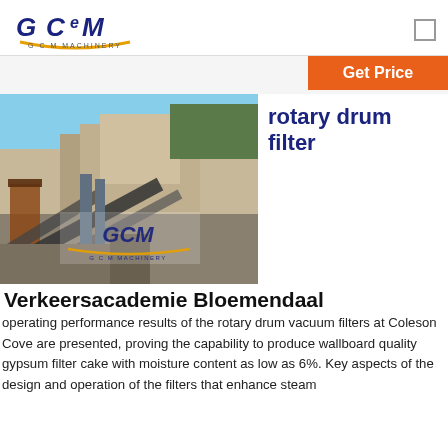GCM MACHINERY
[Figure (logo): GCM Machinery logo with gold arc and blue text]
Get Price
[Figure (photo): Industrial quarry/mining site with conveyor belts and GCM Machinery branding overlay]
rotary drum filter
Verkeersacademie Bloemendaal
operating performance results of the rotary drum vacuum filters at Coleson Cove are presented, proving the capability to produce wallboard quality gypsum filter cake with moisture content as low as 6%. Key aspects of the design and operation of the filters that enhance steam